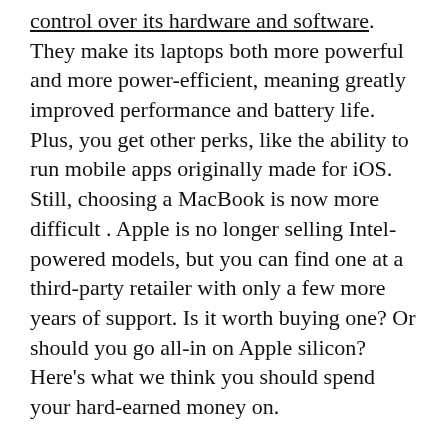control over its hardware and software. They make its laptops both more powerful and more power-efficient, meaning greatly improved performance and battery life. Plus, you get other perks, like the ability to run mobile apps originally made for iOS. Still, choosing a MacBook is now more difficult . Apple is no longer selling Intel-powered models, but you can find one at a third-party retailer with only a few more years of support. Is it worth buying one? Or should you go all-in on Apple silicon? Here's what we think you should spend your hard-earned money on.
Updated June 2022: We've added information on the new 13-inch MacBook Air and MacBook Pro along with the latest M2 chip.